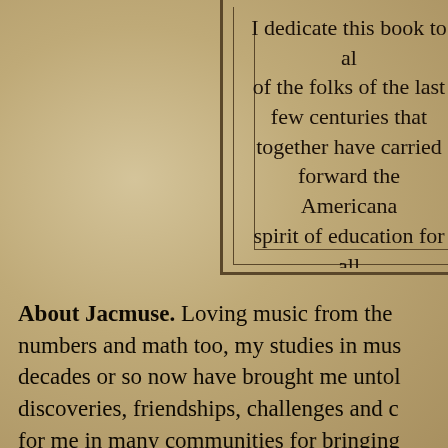I dedicate this book to all of the folks of the last few centuries that together have carried forward the Americana spirit of education for all
About Jacmuse. Loving music from the numbers and math too, my studies in music decades or so now have brought me untold discoveries, friendships, challenges and c for me in many communities for bringing with the musical arts. Pairing formal boo of the art of Bach and Coltrane, with the f expression of guitar and bass guitar, my a